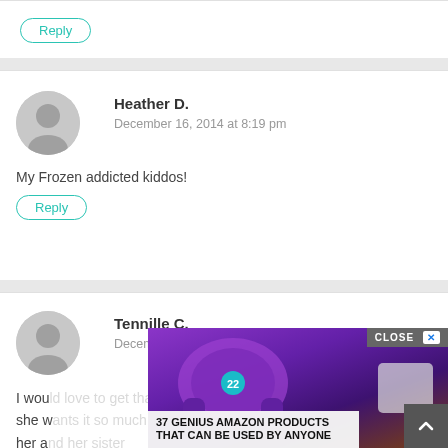Reply
Heather D.
December 16, 2014 at 8:19 pm
My Frozen addicted kiddos!
Reply
Tennille C.
December 16, 2014 at 8:24 pm
I wou... at she w... for her a...
Reply
[Figure (screenshot): Advertisement overlay showing purple headphones with text '37 GENIUS AMAZON PRODUCTS THAT CAN BE USED BY ANYONE' and a CLOSE button with X]